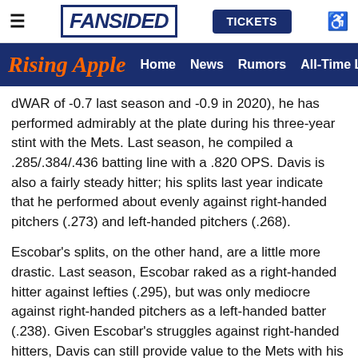FanSided | Rising Apple | Home | News | Rumors | All-Time Lists | TICKETS
dWAR of -0.7 last season and -0.9 in 2020), he has performed admirably at the plate during his three-year stint with the Mets. Last season, he compiled a .285/.384/.436 batting line with a .820 OPS. Davis is also a fairly steady hitter; his splits last year indicate that he performed about evenly against right-handed pitchers (.273) and left-handed pitchers (.268).
Escobar's splits, on the other hand, are a little more drastic. Last season, Escobar raked as a right-handed hitter against lefties (.295), but was only mediocre against right-handed pitchers as a left-handed batter (.238). Given Escobar's struggles against right-handed hitters, Davis can still provide value to the Mets with his bat, and third base is right now the only spot for him (unless the National League adopts the designated hitter).
Wanting Escobar to be the everyday third baseman is understandable, given his contract, speed, and defensive instincts. Escobar has also made adjustments to his offense, including...